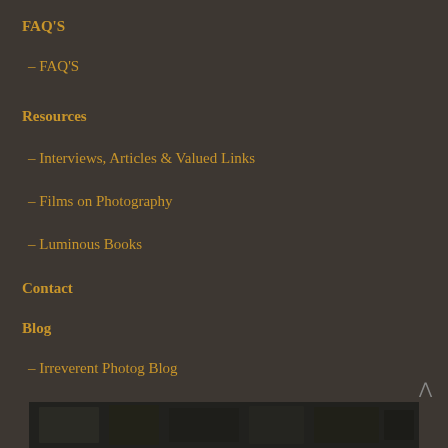FAQ'S
– FAQ'S
Resources
– Interviews, Articles & Valued Links
– Films on Photography
– Luminous Books
Contact
Blog
– Irreverent Photog Blog
[Figure (photo): Black and white photograph visible at bottom of page]